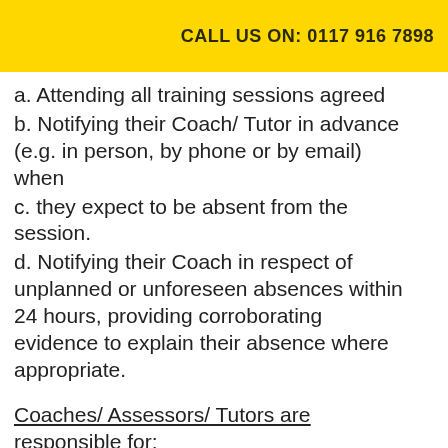CALL US ON: 0117 916 7898
a. Attending all training sessions agreed
b. Notifying their Coach/ Tutor in advance (e.g. in person, by phone or by email) when
c. they expect to be absent from the session.
d. Notifying their Coach in respect of unplanned or unforeseen absences within 24 hours, providing corroborating evidence to explain their absence where appropriate.
Coaches/ Assessors/ Tutors are responsible for: